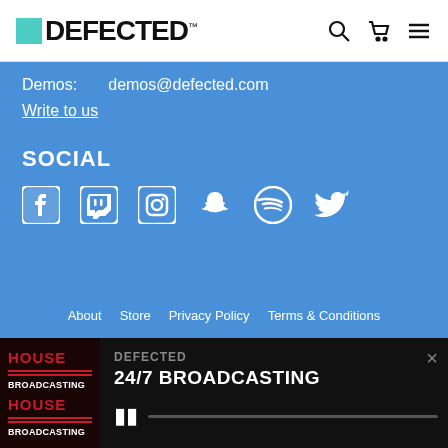[Figure (logo): Defected Records logo with teal square and bold uppercase DEFECTED text]
Demos: demos@defected.com
Write to us
SOCIAL
[Figure (illustration): Social media icons: Facebook, Twitch, Instagram, Snapchat, Spotify, Twitter in white on blue background]
About  Store  Privacy Policy  Terms & Conditions
[Figure (screenshot): Defected Broadcasting House album art thumbnail in dark red/black]
DEFECTED
24/7 BROADCASTING